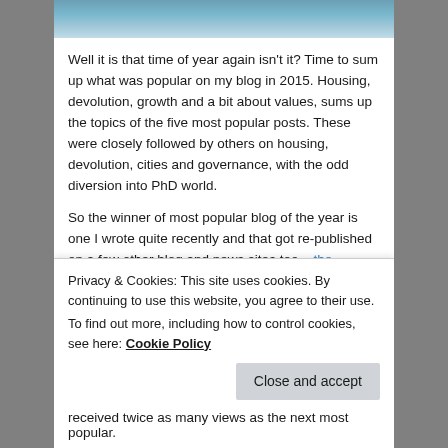[Figure (photo): Partial view of water/sea photograph at the top of the page]
Well it is that time of year again isn't it? Time to sum up what was popular on my blog in 2015. Housing, devolution, growth and a bit about values, sums up the topics of the five most popular posts. These were closely followed by others on housing, devolution, cities and governance, with the odd diversion into PhD world.
So the winner of most popular blog of the year is one I wrote quite recently and that got re-published on a few other blog and news sites too – the invisibility of homelessness. This was a somewhat emotional blog about living in a prosperous city like Bristol, where
Privacy & Cookies: This site uses cookies. By continuing to use this website, you agree to their use.
To find out more, including how to control cookies, see here: Cookie Policy
received twice as many views as the next most popular.